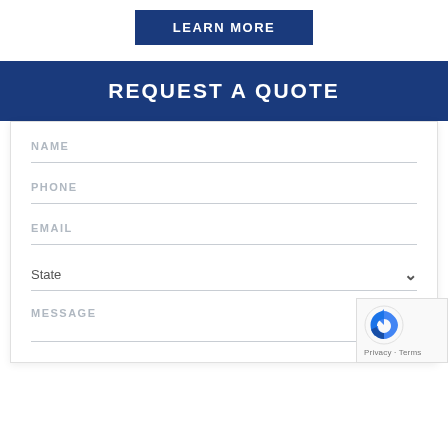LEARN MORE
REQUEST A QUOTE
NAME
PHONE
EMAIL
State
MESSAGE
[Figure (other): reCAPTCHA badge with logo and Privacy · Terms links]